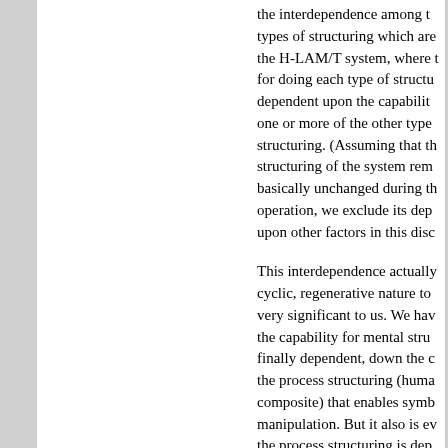the interdependence among the types of structuring which are in the H-LAM/T system, where the for doing each type of structuring dependent upon the capability of one or more of the other types of structuring. (Assuming that the structuring of the system remains basically unchanged during the operation, we exclude its dependence upon other factors in this discussion.
This interdependence actually has a cyclic, regenerative nature to it that is very significant to us. We have seen that the capability for mental structuring is finally dependent, down the chain, upon the process structuring (human and artifact composite) that enables symbol manipulation. But it also is evident that the process structuring is dependent not only upon basic human and artifact process capabilities, but upon the ability of the human to learn how to use processes—and no less importantly, the ability of the human to select, organize, and modify processes